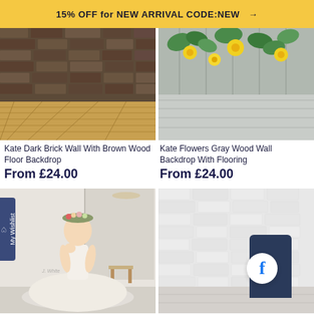15% OFF for NEW ARRIVAL CODE:NEW →
[Figure (photo): Kate Dark Brick Wall With Brown Wood Floor Backdrop - dark brick wall with brown wood floor]
[Figure (photo): Kate Flowers Gray Wood Wall Backdrop With Flooring - yellow flowers and green leaves against gray wood wall with wooden floor]
Kate Dark Brick Wall With Brown Wood Floor Backdrop
Kate Flowers Gray Wood Wall Backdrop With Flooring
From £24.00
From £24.00
[Figure (photo): Girl in white flower girl dress with floral crown, posing in front of a white studio backdrop]
[Figure (photo): White brick wall backdrop with wooden floor]